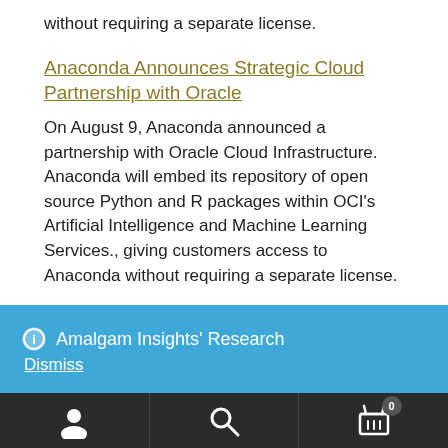without requiring a separate license.
Anaconda Announces Strategic Cloud Partnership with Oracle
On August 9, Anaconda announced a partnership with Oracle Cloud Infrastructure. Anaconda will embed its repository of open source Python and R packages within OCI’s Artificial Intelligence and Machine Learning Services., giving customers access to Anaconda without requiring a separate license.
ⓘ  Amalgam Insights' Research
Dismiss
[Figure (infographic): Bottom navigation bar with user account icon, search icon, and shopping cart icon with badge showing 0]